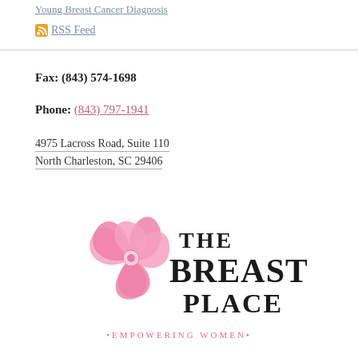Young Breast Cancer Diagnosis
RSS Feed
Fax: (843) 574-1698
Phone: (843) 797-1941
4975 Lacross Road, Suite 110
North Charleston, SC 29406
[Figure (logo): The Breast Place logo with pink ribbon flower graphic and tagline 'Empowering Women']